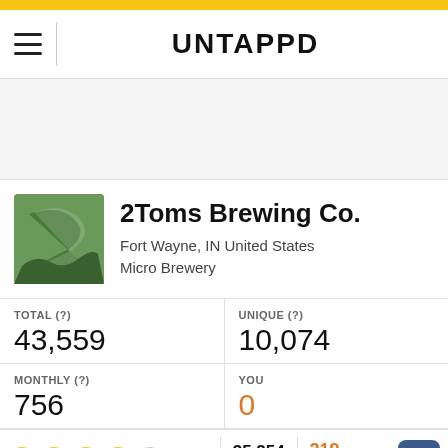UNTAPPD
[Figure (logo): 2Toms Brewing Co. logo - green square with stylized number 2]
2Toms Brewing Co.
Fort Wayne, IN United States
Micro Brewery
| TOTAL (?) | UNIQUE (?) |
| --- | --- |
| 43,559 | 10,074 |
| MONTHLY (?) | YOU |
| 756 | 0 |
(3.89)  35,254 Ratings  219 Beers